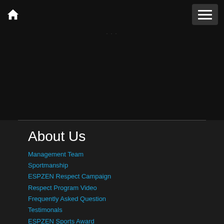Navigation bar with home icon and menu button
[Figure (screenshot): Dark navigation area with a small indicator at top]
About Us
Management Team
Sportmanship
ESPZEN Respect Campaign
Respect Program Video
Frequently Asked Question
Testimonals
ESPZEN Sports Award
Affiliation With The FAS
Health
Are You Fit For Sport?